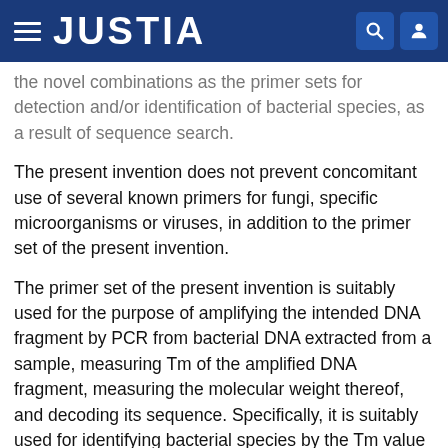JUSTIA
the novel combinations as the primer sets for detection and/or identification of bacterial species, as a result of sequence search.
The present invention does not prevent concomitant use of several known primers for fungi, specific microorganisms or viruses, in addition to the primer set of the present invention.
The primer set of the present invention is suitably used for the purpose of amplifying the intended DNA fragment by PCR from bacterial DNA extracted from a sample, measuring Tm of the amplified DNA fragment, measuring the molecular weight thereof, and decoding its sequence. Specifically, it is suitably used for identifying bacterial species by the Tm value of a DNA fragment composed of a part of 16S rDNA sequence of a bacterium to be amplified by the primer set of the